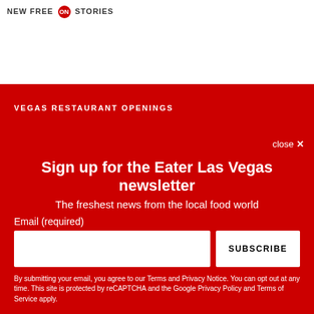NEW FREE ON STORIES
VEGAS RESTAURANT OPENINGS
close ×
Sign up for the Eater Las Vegas newsletter
The freshest news from the local food world
Email (required)
SUBSCRIBE
By submitting your email, you agree to our Terms and Privacy Notice. You can opt out at any time. This site is protected by reCAPTCHA and the Google Privacy Policy and Terms of Service apply.